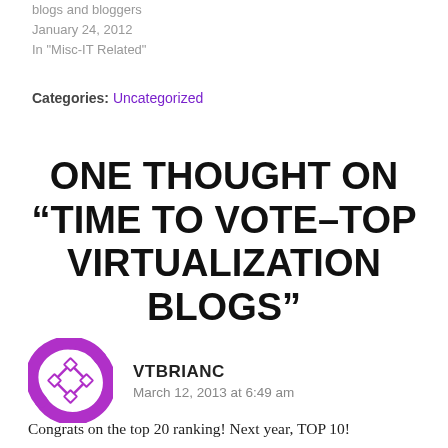blogs and bloggers
January 24, 2012
In "Misc-IT Related"
Categories: Uncategorized
ONE THOUGHT ON “TIME TO VOTE–TOP VIRTUALIZATION BLOGS”
[Figure (logo): Purple circular logo with diamond/rhombus pattern in the center, resembling the Dropbox or similar tech brand icon]
VTBRIANC
March 12, 2013 at 6:49 am
Congrats on the top 20 ranking! Next year, TOP 10!